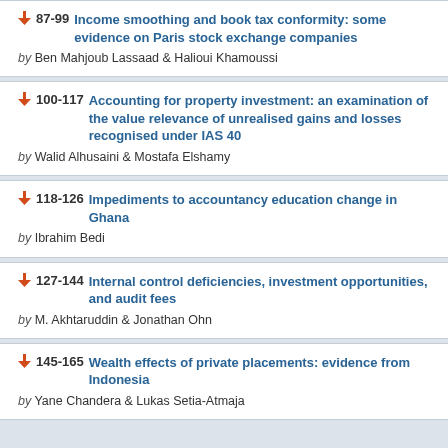87-99 Income smoothing and book tax conformity: some evidence on Paris stock exchange companies by Ben Mahjoub Lassaad & Halioui Khamoussi
100-117 Accounting for property investment: an examination of the value relevance of unrealised gains and losses recognised under IAS 40 by Walid Alhusaini & Mostafa Elshamy
118-126 Impediments to accountancy education change in Ghana by Ibrahim Bedi
127-144 Internal control deficiencies, investment opportunities, and audit fees by M. Akhtaruddin & Jonathan Ohn
145-165 Wealth effects of private placements: evidence from Indonesia by Yane Chandera & Lukas Setia-Atmaja